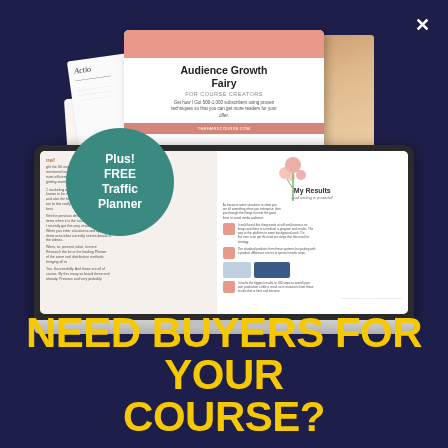[Figure (illustration): Marketing promotional image showing a laptop mockup displaying a document about 'My Results - goal setting is powerful!', with papers behind including an 'Audience Growth Fairy for Course Creators' card, a teal circular badge saying 'Plus! FREE Traffic Planner', and decorative elements on a dark navy background.]
NEED BUYERS FOR YOUR COURSE?